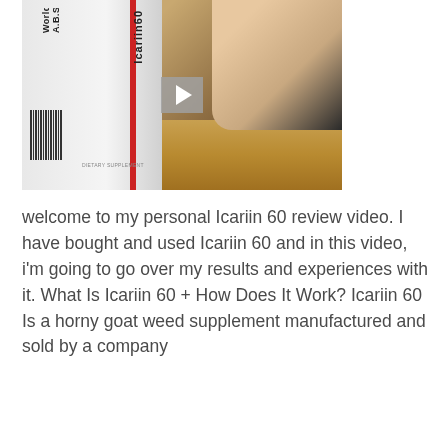[Figure (screenshot): Video thumbnail showing a white supplement bottle labeled 'Icariin 60' with a red stripe and 'World A.B.S.' text, placed on a wooden surface with a hand reaching toward it. A gray play button is visible in the center of the video frame.]
welcome to my personal Icariin 60 review video. I have bought and used Icariin 60 and in this video, i'm going to go over my results and experiences with it. What Is Icariin 60 + How Does It Work? Icariin 60 Is a horny goat weed supplement manufactured and sold by a company